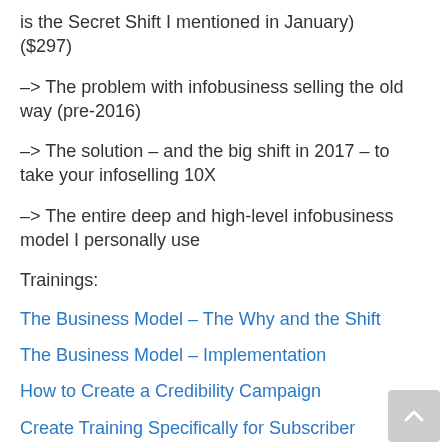is the Secret Shift I mentioned in January) ($297)
–> The problem with infobusiness selling the old way (pre-2016)
–> The solution – and the big shift in 2017 – to take your infoselling 10X
–> The entire deep and high-level infobusiness model I personally use
Trainings:
The Business Model – The Why and the Shift
The Business Model – Implementation
How to Create a Credibility Campaign
Create Training Specifically for Subscriber